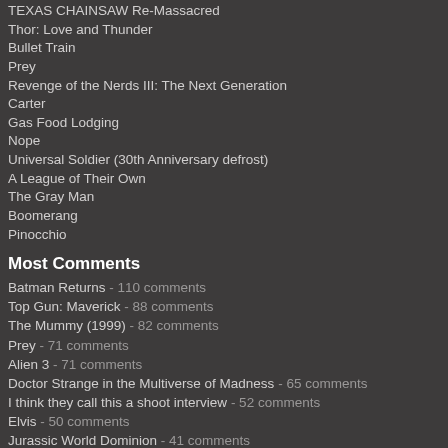TEXAS CHAINSAW Re-Massacred
Thor: Love and Thunder
Bullet Train
Prey
Revenge of the Nerds III: The Next Generation
Carter
Gas Food Lodging
Nope
Universal Soldier (30th Anniversary defrost)
A League of Their Own
The Gray Man
Boomerang
Pinocchio
Most Comments
Batman Returns - 110 comments
Top Gun: Maverick - 88 comments
The Mummy (1999) - 82 comments
Prey - 71 comments
Alien 3 - 71 comments
Doctor Strange in the Multiverse of Madness - 65 comments
I think they call this a shoot interview - 52 comments
Elvis - 50 comments
Jurassic World Dominion - 41 comments
Prelude: 1992 - Weird Summer (featuring Check Your Head) - 37 comments